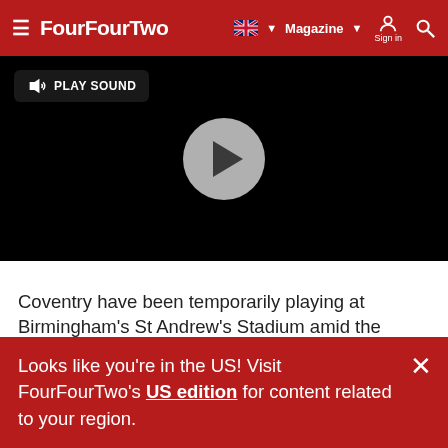FourFourTwo — Magazine | Sign in | Search
[Figure (screenshot): Video player with dark/black background, a gray play button circle in the center, and a 'PLAY SOUND' button with speaker icon in the top left corner]
Coventry have been temporarily playing at Birmingham's St Andrew's Stadium amid the dispute.
Looks like you're in the US! Visit FourFourTwo's US edition for content related to your region.